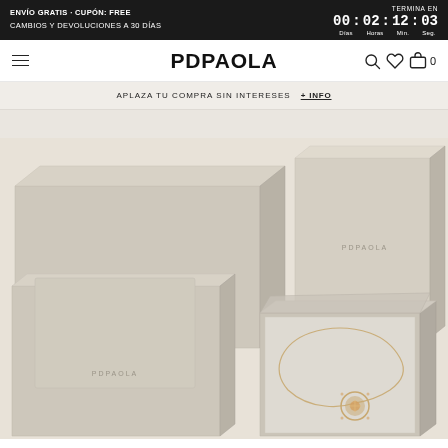ENVÍO GRATIS · CUPÓN: FREE  CAMBIOS Y DEVOLUCIONES A 30 DÍAS  |  TERMINA EN 00 : 02 : 12 : 03  Días Horas Min. Seg.
[Figure (logo): PDPAOLA brand logo with hamburger menu and navigation icons]
APLAZA TU COMPRA SIN INTERESES  + INFO
[Figure (photo): PDPAOLA branded jewelry packaging boxes and a necklace on beige/cream background. Shows multiple gift boxes with PDPAOLA branding and a gold necklace with a pendant displayed on an open box.]